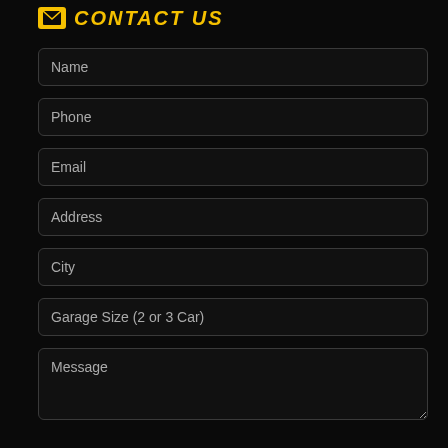CONTACT US
Name
Phone
Email
Address
City
Garage Size (2 or 3 Car)
Message